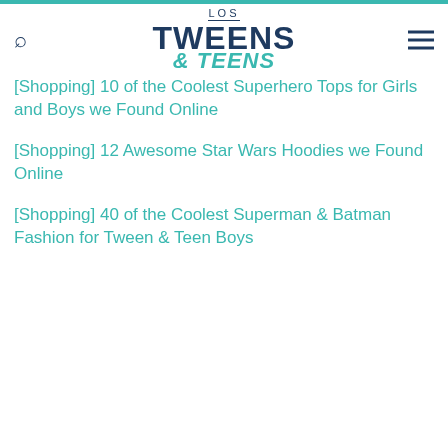Los Tweens & Teens
[Shopping] 10 of the Coolest Superhero Tops for Girls and Boys we Found Online
[Shopping] 12 Awesome Star Wars Hoodies we Found Online
[Shopping] 40 of the Coolest Superman & Batman Fashion for Tween & Teen Boys